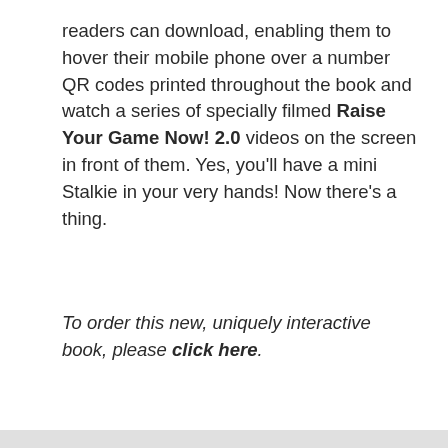readers can download, enabling them to hover their mobile phone over a number QR codes printed throughout the book and watch a series of specially filmed Raise Your Game Now! 2.0 videos on the screen in front of them. Yes, you'll have a mini Stalkie in your very hands! Now there's a thing.
To order this new, uniquely interactive book, please click here.